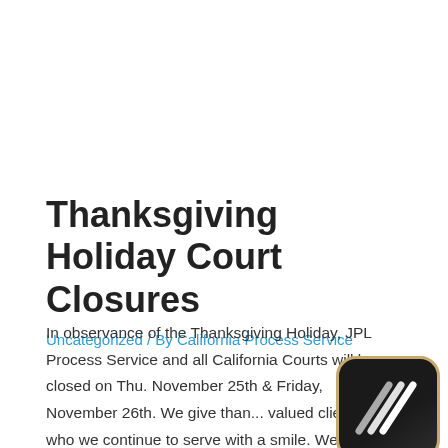Thanksgiving Holiday Court Closures
Uncategorized / By California Process Service
In observance of the Thanksgiving Holiday, JPL Process Service and all California Courts will be closed on Thu. November 25th & Friday, November 26th. We give than... valued clients who we continue to serve with a smile. We at JPL Process Service are most grateful to be a part of your legal
[Figure (logo): App icon with dark background and stylized S letter mark, rounded square shape with tan/gold border]